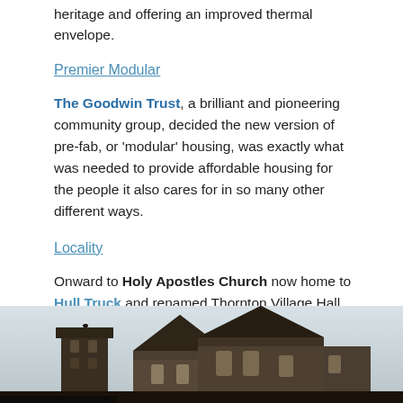heritage and offering an improved thermal envelope.
Premier Modular
The Goodwin Trust, a brilliant and pioneering community group, decided the new version of pre-fab, or 'modular' housing, was exactly what was needed to provide affordable housing for the people it also cares for in so many other different ways.
Locality
Onward to Holy Apostles Church now home to Hull Truck and renamed Thornton Village Hall.
Architects: Ferrey and Mennim
[Figure (photo): Exterior photograph of Holy Apostles Church (now Thornton Village Hall), showing the pointed Gothic-style rooflines and a tower on the left side, against an overcast sky.]